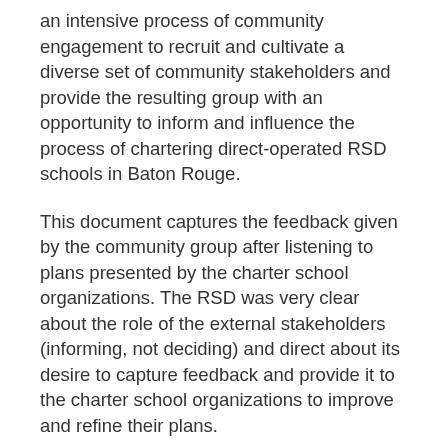an intensive process of community engagement to recruit and cultivate a diverse set of community stakeholders and provide the resulting group with an opportunity to inform and influence the process of chartering direct-operated RSD schools in Baton Rouge.
This document captures the feedback given by the community group after listening to plans presented by the charter school organizations. The RSD was very clear about the role of the external stakeholders (informing, not deciding) and direct about its desire to capture feedback and provide it to the charter school organizations to improve and refine their plans.
The significant time spent cultivating strong stakeholders and RSD's clear directives on roles and responsibilities contributed to the success of this process.